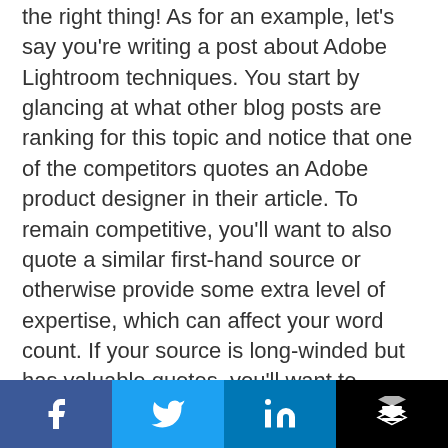the right thing! As for an example, let's say you're writing a post about Adobe Lightroom techniques. You start by glancing at what other blog posts are ranking for this topic and notice that one of the competitors quotes an Adobe product designer in their article. To remain competitive, you'll want to also quote a similar first-hand source or otherwise provide some extra level of expertise, which can affect your word count. If your source is long-winded but has valuable quotes, you'll want to consciously balance how many quotes or citations you attribute to that source against the word count you're aiming for (or the average word count of your
[Figure (other): Social sharing bar with four buttons: Facebook (dark blue, f icon), Twitter (light blue, bird icon), LinkedIn (blue, 'in' icon), Buffer (black, stacked layers icon)]